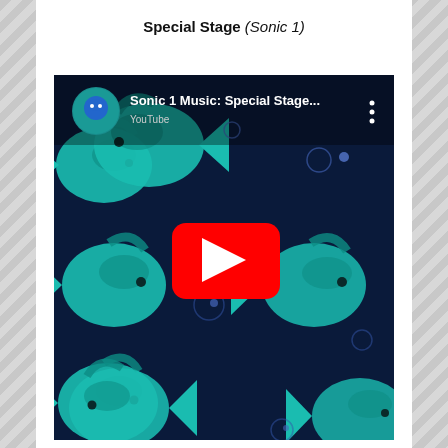Special Stage (Sonic 1)
[Figure (screenshot): YouTube video thumbnail showing 'Sonic 1 Music: Special Stage...' with a dark blue background featuring teal/cyan tropical fish and bubbles. A red YouTube play button is centered on the image. Top left shows a circular channel icon with Sonic the Hedgehog.]